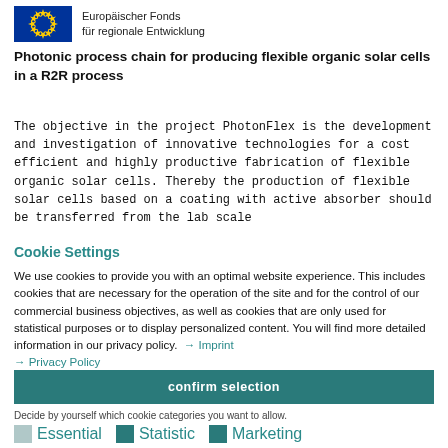[Figure (logo): EU flag logo (blue rectangle with yellow stars) alongside text 'Europäischer Fonds für regionale Entwicklung']
Photonic process chain for producing flexible organic solar cells in a R2R process
The objective in the project PhotonFlex is the development and investigation of innovative technologies for a cost efficient and highly productive fabrication of flexible organic solar cells. Thereby the production of flexible solar cells based on a coating with active absorber should be transferred from the lab scale
Cookie Settings
We use cookies to provide you with an optimal website experience. This includes cookies that are necessary for the operation of the site and for the control of our commercial business objectives, as well as cookies that are only used for statistical purposes or to display personalized content. You will find more detailed information in our privacy policy. → Imprint → Privacy Policy
confirm selection
Decide by yourself which cookie categories you want to allow.  Essential  Statistic  Marketing